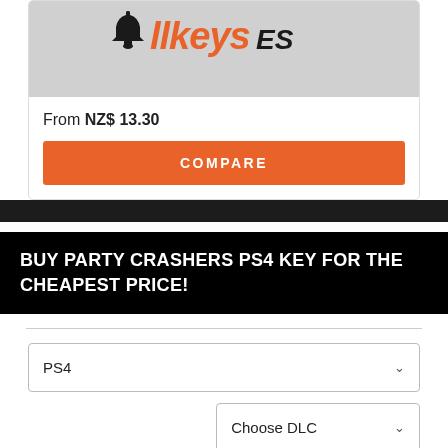[Figure (logo): Partial logo image showing a bell icon and orange italic text on grey background]
From NZ$ 13.30
COMPARE
BUY PARTY CRASHERS PS4 KEY FOR THE CHEAPEST PRICE!
PS4
Choose DLC